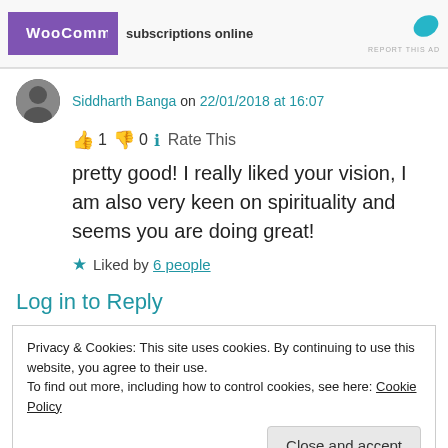[Figure (other): WooCommerce advertisement banner with purple logo and 'subscriptions online' text with teal leaf icon and 'REPORT THIS AD' label]
Siddharth Banga on 22/01/2018 at 16:07
👍 1 👎 0 ℹ Rate This
pretty good! I really liked your vision, I am also very keen on spirituality and seems you are doing great!
★ Liked by 6 people
Log in to Reply
Privacy & Cookies: This site uses cookies. By continuing to use this website, you agree to their use.
To find out more, including how to control cookies, see here: Cookie Policy
Close and accept
Dear friend